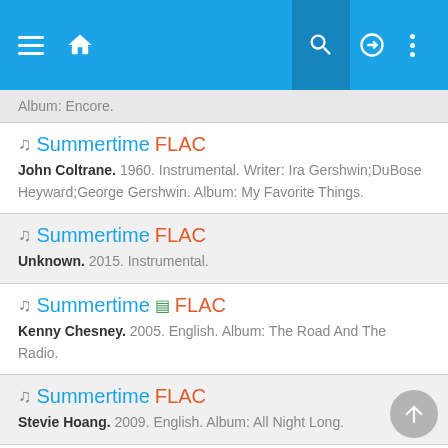Music app header with menu, home, search, login, and more options
Album: Encore.
♫ Summertime FLAC
John Coltrane. 1960. Instrumental. Writer: Ira Gershwin;DuBose Heyward;George Gershwin. Album: My Favorite Things.
♫ Summertime FLAC
Unknown. 2015. Instrumental.
♫ Summertime [doc] FLAC
Kenny Chesney. 2005. English. Album: The Road And The Radio.
♫ Summertime FLAC
Stevie Hoang. 2009. English. Album: All Night Long.
♫ Summertime FLAC
Martin Ermen. 2011. Instrumental. Writer: George Gershwin. Album: Piano Dreams 3.